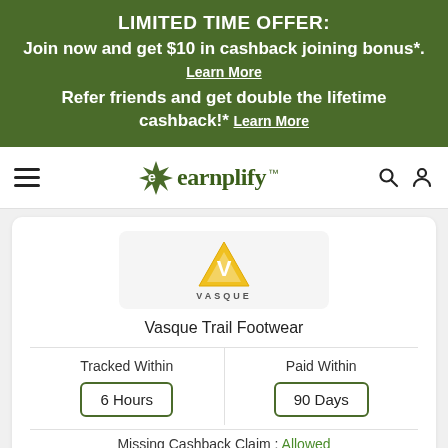LIMITED TIME OFFER: Join now and get $10 in cashback joining bonus*. Learn More Refer friends and get double the lifetime cashback!* Learn More
[Figure (logo): Earnplify logo with green leaf and stylized text]
[Figure (logo): Vasque brand logo - yellow V triangle with VASQUE text]
Vasque Trail Footwear
Tracked Within
6 Hours
Paid Within
90 Days
Missing Cashback Claim: Allowed